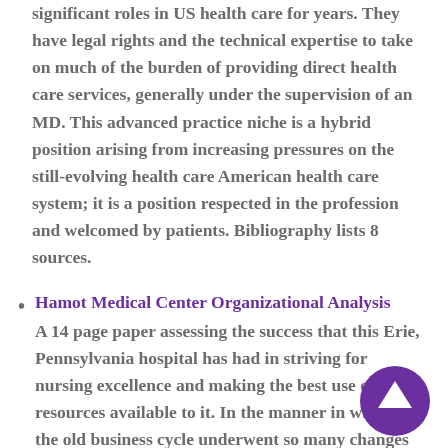significant roles in US health care for years. They have legal rights and the technical expertise to take on much of the burden of providing direct health care services, generally under the supervision of an MD. This advanced practice niche is a hybrid position arising from increasing pressures on the still-evolving health care American health care system; it is a position respected in the profession and welcomed by patients. Bibliography lists 8 sources.
Hamot Medical Center Organizational Analysis A 14 page paper assessing the success that this Erie, Pennsylvania hospital has had in striving for nursing excellence and making the best use of all resources available to it. In the manner in which the old business cycle underwent so many changes that today's version needed the designation of the 'new